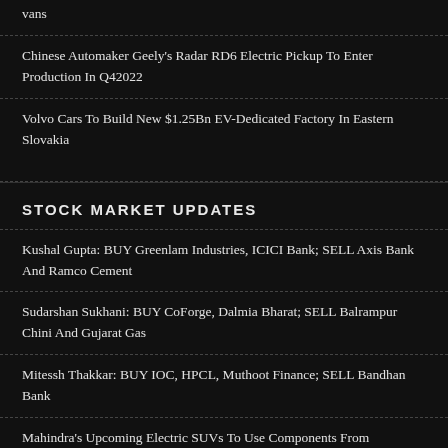vans
Chinese Automaker Geely's Radar RD6 Electric Pickup To Enter Production In Q42022
Volvo Cars To Build New $1.25Bn EV-Dedicated Factory In Eastern Slovakia
STOCK MARKET UPDATES
Kushal Gupta: BUY Greenlam Industries, ICICI Bank; SELL Axis Bank And Ramco Cement
Sudarshan Sukhani: BUY CoForge, Dalmia Bharat; SELL Balrampur Chini And Gujarat Gas
Mitessh Thakkar: BUY IOC, HPCL, Muthoot Finance; SELL Bandhan Bank
Mahindra's Upcoming Electric SUVs To Use Components From